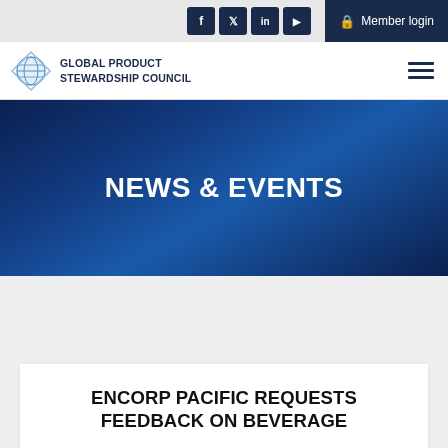Social icons: Facebook, Twitter, LinkedIn, YouTube | Member login
[Figure (logo): Global Product Stewardship Council logo with diamond globe icon]
NEWS & EVENTS
ENCORP PACIFIC REQUESTS FEEDBACK ON BEVERAGE